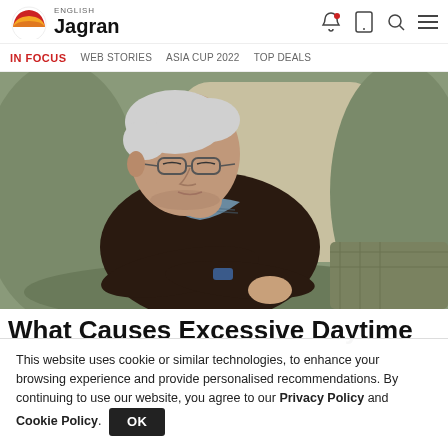ENGLISH Jagran
IN FOCUS   WEB STORIES   ASIA CUP 2022   TOP DEALS
[Figure (photo): Elderly man sleeping in an armchair with arms crossed, wearing a dark sweater and plaid shirt, resting his head to the side]
What Causes Excessive Daytime
This website uses cookie or similar technologies, to enhance your browsing experience and provide personalised recommendations. By continuing to use our website, you agree to our Privacy Policy and Cookie Policy.